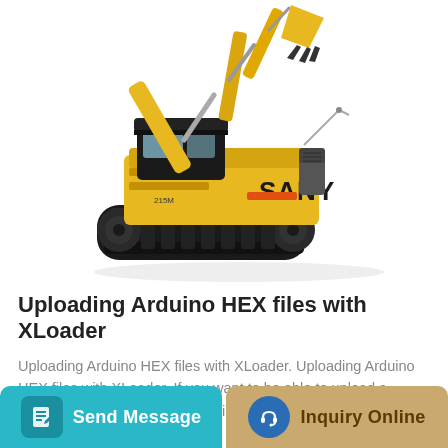[Figure (photo): SANY yellow excavator with tracked undercarriage, shown at an angle on white background]
Uploading Arduino HEX files with XLoader
Uploading Arduino HEX files with XLoader. Uploading Arduino HEX files with XLoader. If you want to be able to upload a compiled Arduino sketch (HEX file) to your Arduin...
Send Message
Inquiry Online